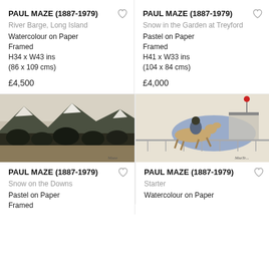PAUL MAZE (1887-1979)
River Barge, Long Island
Watercolour on Paper
Framed
H34 x W43 ins
(86 x 109 cms)
£4,500
PAUL MAZE (1887-1979)
Snow in the Garden at Treyford
Pastel on Paper
Framed
H41 x W33 ins
(104 x 84 cms)
£4,000
[Figure (photo): Snowy mountain landscape with dark trees in foreground, painting by Paul Maze]
PAUL MAZE (1887-1979)
Snow on the Downs
Pastel on Paper
Framed
[Figure (photo): Horse racing scene with jockey on horse near starting gate, painting by Paul Maze]
PAUL MAZE (1887-1979)
Starter
Watercolour on Paper